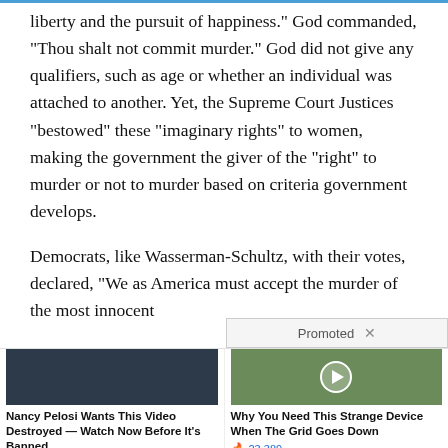liberty and the pursuit of happiness.” God commanded, “Thou shalt not commit murder.” God did not give any qualifiers, such as age or whether an individual was attached to another. Yet, the Supreme Court Justices “bestowed” these “imaginary rights” to women, making the government the giver of the “right” to murder or not to murder based on criteria government develops.
Democrats, like Wasserman-Schultz, with their votes, declared, “We as America must accept the murder of the most innocent
Promoted ×
[Figure (photo): Photo of Obama, Biden, and Pelosi interacting at what appears to be an official event]
Nancy Pelosi Wants This Video Destroyed — Watch Now Before It's Banned
🔥 178,614
[Figure (photo): Photo of a gas station with cars and a person, with a video play button overlay]
Why You Need This Strange Device When The Grid Goes Down
🔥 23,389